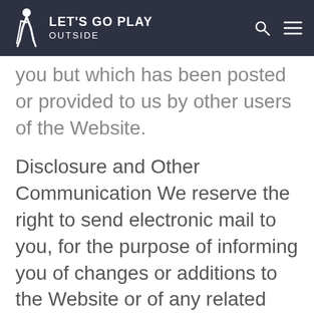LET'S GO PLAY OUTSIDE
you but which has been posted or provided to us by other users of the Website.
Disclosure and Other Communication We reserve the right to send electronic mail to you, for the purpose of informing you of changes or additions to the Website or of any related products and services. We reserve the right to disclose information about